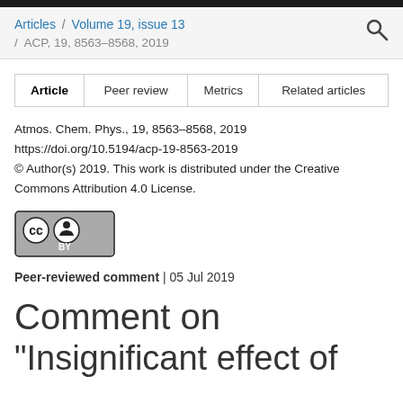Articles / Volume 19, issue 13 / ACP, 19, 8563–8568, 2019
| Article | Peer review | Metrics | Related articles |
| --- | --- | --- | --- |
Atmos. Chem. Phys., 19, 8563–8568, 2019
https://doi.org/10.5194/acp-19-8563-2019
© Author(s) 2019. This work is distributed under the Creative Commons Attribution 4.0 License.
[Figure (logo): Creative Commons Attribution (CC BY) license badge]
Peer-reviewed comment | 05 Jul 2019
Comment on
"Insignificant effect of